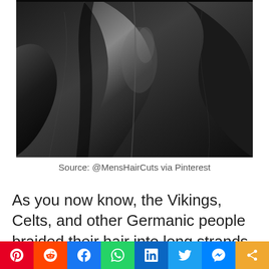[Figure (photo): Close-up photo of a black leather jacket with folds and stitching visible]
Source: @MensHairCuts via Pinterest
As you now know, the Vikings, Celts, and other Germanic people braided their hair into long strands that looked like rope. Even so, they weren't the only Europeans who did this. The
Social share bar: Pinterest, Reddit, Facebook, WhatsApp, LinkedIn, Twitter, Messenger, Share